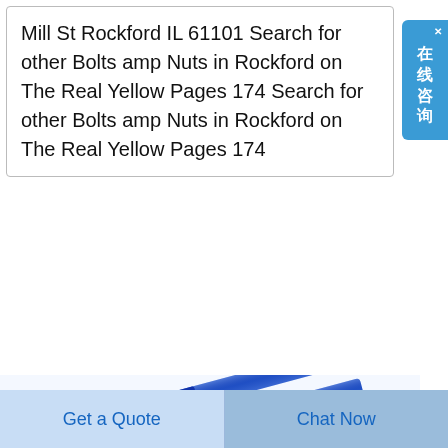Mill St Rockford IL 61101 Search for other Bolts amp Nuts in Rockford on The Real Yellow Pages 174 Search for other Bolts amp Nuts in Rockford on The Real Yellow Pages 174
[Figure (illustration): Blue threaded rods or bolts arranged diagonally, with a watermark logo visible. Partially visible red circular element at bottom right.]
Get a Quote
Chat Now